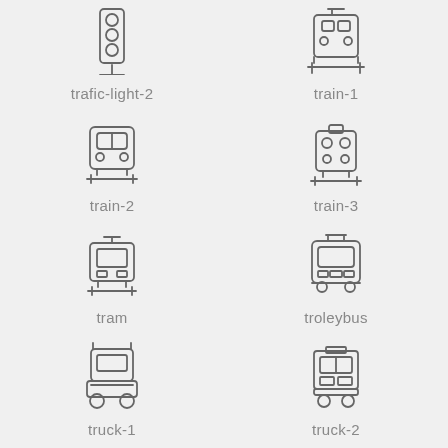[Figure (illustration): Traffic light icon (trafic-light-2)]
trafic-light-2
[Figure (illustration): Train front view icon (train-1)]
train-1
[Figure (illustration): Train front view icon (train-2)]
train-2
[Figure (illustration): Train/locomotive front view icon (train-3)]
train-3
[Figure (illustration): Tram icon]
tram
[Figure (illustration): Trolleybus icon]
troleybus
[Figure (illustration): Truck front view icon (truck-1)]
truck-1
[Figure (illustration): Truck front view icon (truck-2)]
truck-2